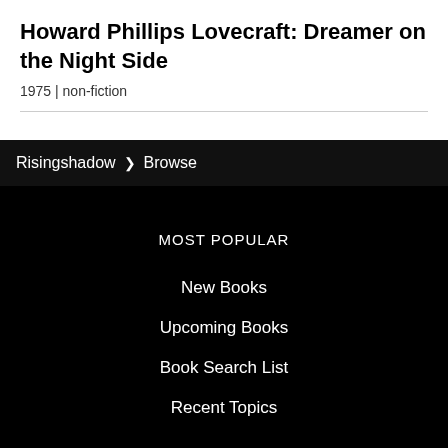Howard Phillips Lovecraft: Dreamer on the Night Side
1975 | non-fiction
Risingshadow > Browse
MOST POPULAR
New Books
Upcoming Books
Book Search List
Recent Topics
INFO